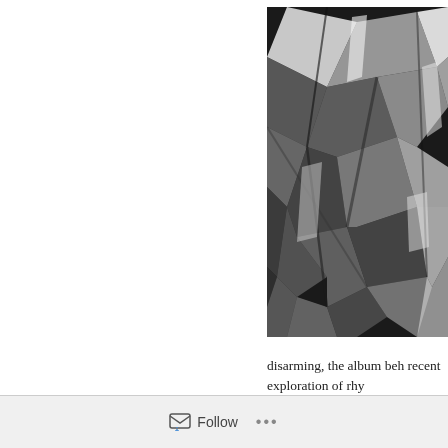[Figure (photo): Black and white photograph of crumpled metallic foil or mylar material, showing reflective creased surfaces with high contrast shadows and highlights]
disarming, the album beh recent exploration of rhy highly grounding, makin
Follow ...